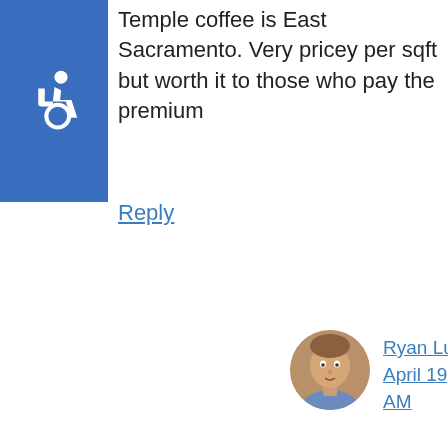[Figure (illustration): Blue accessibility wheelchair icon badge in top left corner]
Temple coffee is East Sacramento. Very pricey per sqft but worth it to those who pay the premium
Reply
[Figure (photo): Round avatar photo of Ryan Lundquist, a man in a blue shirt]
Ryan Lundquist says April 19, 2016 at 10:19 AM
Now that's a metaphor, Matt. Well played (and true). I think I paid $2.75 or so for a cup of coffee there
[Figure (infographic): Dropdown chevron widget on left side]
Sales Management
Automate sales workflows for improved sales efficiency, revenue & customer management CRM in OmegaCube ERP
Open